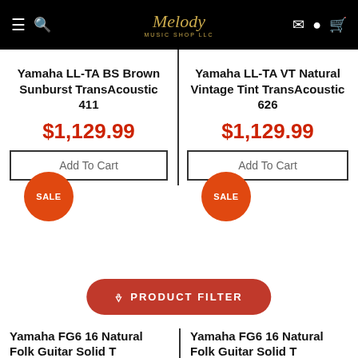Melody Music Shop LLC
Yamaha LL-TA BS Brown Sunburst TransAcoustic 411
$1,129.99
Add To Cart
SALE
Yamaha LL-TA VT Natural Vintage Tint TransAcoustic 626
$1,129.99
Add To Cart
SALE
PRODUCT FILTER
Yamaha FG6 16 Natural Folk Guitar Solid T
Yamaha FG6 16 Natural Folk Guitar Solid T